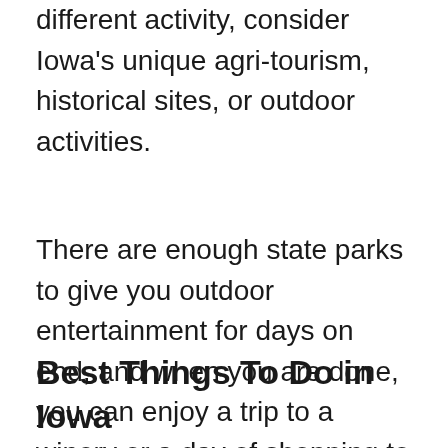different activity, consider Iowa's unique agri-tourism, historical sites, or outdoor activities.
There are enough state parks to give you outdoor entertainment for days on end, and when you are done, you can enjoy a trip to a winery or a day of shopping to relax. The following top tourist attractions in Iowa include scenic locations, adventure, and family fun, perfect for any vacation length.
Best Things To Do in Iowa